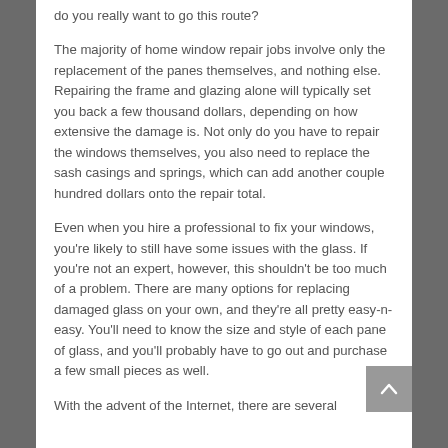do you really want to go this route?
The majority of home window repair jobs involve only the replacement of the panes themselves, and nothing else. Repairing the frame and glazing alone will typically set you back a few thousand dollars, depending on how extensive the damage is. Not only do you have to repair the windows themselves, you also need to replace the sash casings and springs, which can add another couple hundred dollars onto the repair total.
Even when you hire a professional to fix your windows, you're likely to still have some issues with the glass. If you're not an expert, however, this shouldn't be too much of a problem. There are many options for replacing damaged glass on your own, and they're all pretty easy-n-easy. You'll need to know the size and style of each pane of glass, and you'll probably have to go out and purchase a few small pieces as well.
With the advent of the Internet, there are several